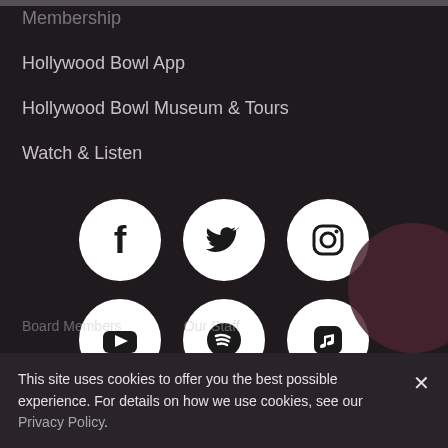Membership
Hollywood Bowl App
Hollywood Bowl Museum & Tours
Watch & Listen
[Figure (infographic): Six social media icon circles in two rows: Facebook, Twitter, Instagram (top row); YouTube, Spotify, Apple Music (bottom row). All icons are black on white circular backgrounds.]
This site uses cookies to offer you the best possible experience. For details on how we use cookies, see our Privacy Policy.